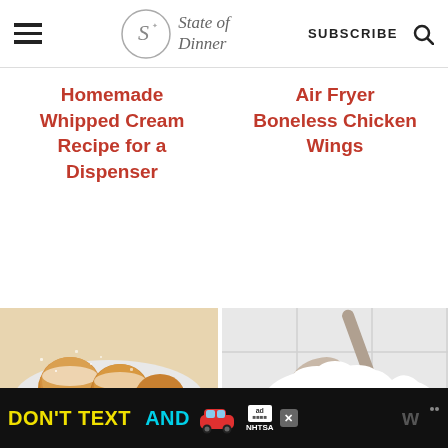State of Dinner — SUBSCRIBE
Homemade Whipped Cream Recipe for a Dispenser
Air Fryer Boneless Chicken Wings
[Figure (photo): Powdered sugar dusted fried dough balls on a white plate]
[Figure (photo): Spoon scooping whipped cream from a bowl against white tile background]
[Figure (other): Ad banner: DON'T TEXT AND [car emoji] — NHTSA advertisement]